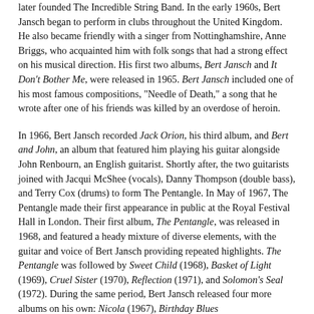later founded The Incredible String Band. In the early 1960s, Bert Jansch began to perform in clubs throughout the United Kingdom. He also became friendly with a singer from Nottinghamshire, Anne Briggs, who acquainted him with folk songs that had a strong effect on his musical direction. His first two albums, Bert Jansch and It Don't Bother Me, were released in 1965. Bert Jansch included one of his most famous compositions, "Needle of Death," a song that he wrote after one of his friends was killed by an overdose of heroin.
In 1966, Bert Jansch recorded Jack Orion, his third album, and Bert and John, an album that featured him playing his guitar alongside John Renbourn, an English guitarist. Shortly after, the two guitarists joined with Jacqui McShee (vocals), Danny Thompson (double bass), and Terry Cox (drums) to form The Pentangle. In May of 1967, The Pentangle made their first appearance in public at the Royal Festival Hall in London. Their first album, The Pentangle, was released in 1968, and featured a heady mixture of diverse elements, with the guitar and voice of Bert Jansch providing repeated highlights. The Pentangle was followed by Sweet Child (1968), Basket of Light (1969), Cruel Sister (1970), Reflection (1971), and Solomon's Seal (1972). During the same period, Bert Jansch released four more albums on his own: Nicola (1967), Birthday Blues